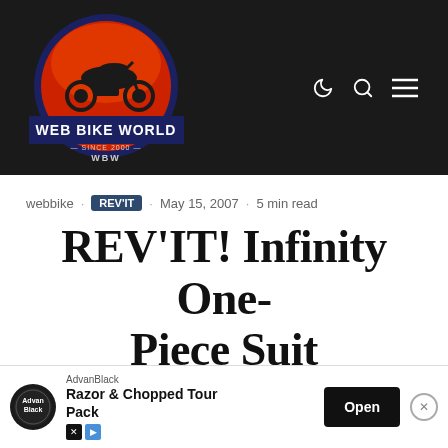[Figure (logo): Web Bike World logo: circular red and orange badge with motorcycle silhouette, navy blue ring, text WEB BIKE WORLD SINCE 2000 WBW]
webbike · REV'IT · May 15, 2007 · 5 min read
REV'IT! Infinity One-Piece Suit
REV'IT! Infinity One-Piece Suit
REV'IT! Infinity One-Piece Suit Review for U.S. Market